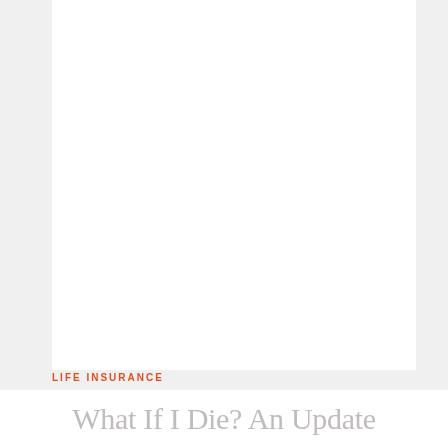LIFE INSURANCE
What If I Die? An Update